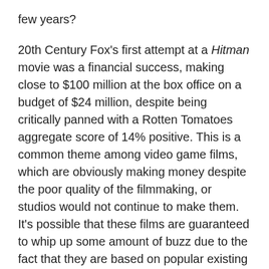few years?
20th Century Fox's first attempt at a Hitman movie was a financial success, making close to $100 million at the box office on a budget of $24 million, despite being critically panned with a Rotten Tomatoes aggregate score of 14% positive. This is a common theme among video game films, which are obviously making money despite the poor quality of the filmmaking, or studios would not continue to make them. It's possible that these films are guaranteed to whip up some amount of buzz due to the fact that they are based on popular existing properties. For example, the many Tomb Raider fans that have helped the video game series sell a collective 42 million units are likely to continue to support the franchise on the big screen (and casting Angelina Jolie in the role of Lara Croft doesn't hurt).